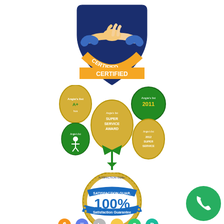[Figure (logo): Certified badge with handshake icon in blue and orange shield shape with 'CERTIFIED' text at bottom]
[Figure (logo): Multiple Angie's List Super Service Award badges and medals in gold and green]
[Figure (logo): 100% Satisfaction Guarantee circular badge in gold and blue]
[Figure (logo): Row of cryptocurrency coin icons: Bitcoin, Ethereum, Litecoin, and others in orange, blue, grey, yellow, green, and teal]
[Figure (logo): Green circular phone/call button with white phone icon in bottom right corner]